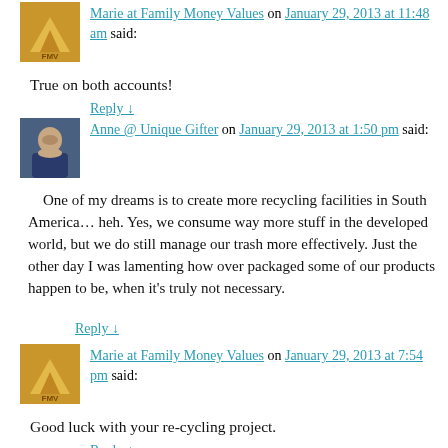Marie at Family Money Values on January 29, 2013 at 11:48 am said:
True on both accounts!
Reply ↓
Anne @ Unique Gifter on January 29, 2013 at 1:50 pm said:
One of my dreams is to create more recycling facilities in South America… heh. Yes, we consume way more stuff in the developed world, but we do still manage our trash more effectively. Just the other day I was lamenting how over packaged some of our products happen to be, when it's truly not necessary.
Reply ↓
Marie at Family Money Values on January 29, 2013 at 7:54 pm said:
Good luck with your re-cycling project.
Reply ↓